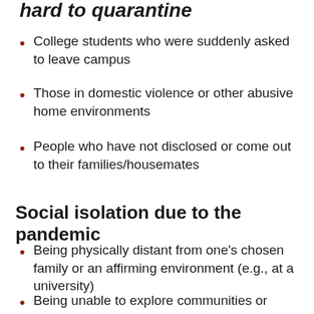hard to quarantine
College students who were suddenly asked to leave campus
Those in domestic violence or other abusive home environments
People who have not disclosed or come out to their families/housemates
Social isolation due to the pandemic
Being physically distant from one's chosen family or an affirming environment (e.g., at a university)
Being unable to explore communities or experiences that might be affirming, such